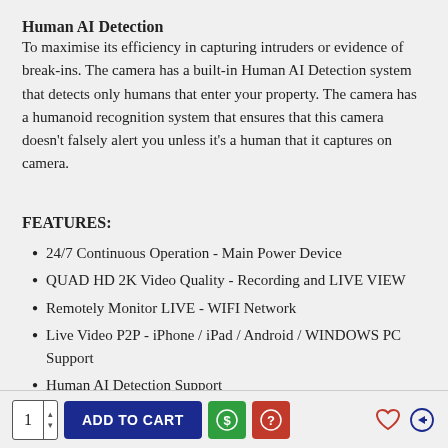Human AI Detection
To maximise its efficiency in capturing intruders or evidence of break-ins. The camera has a built-in Human AI Detection system that detects only humans that enter your property. The camera has a humanoid recognition system that ensures that this camera doesn't falsely alert you unless it's a human that it captures on camera.
FEATURES:
24/7 Continuous Operation - Main Power Device
QUAD HD 2K Video Quality - Recording and LIVE VIEW
Remotely Monitor LIVE - WIFI Network
Live Video P2P - iPhone / iPad / Android / WINDOWS PC Support
Human AI Detection Support
Intelligent Night Vision Mode Switch - Between IR and Full Colour Night Vision